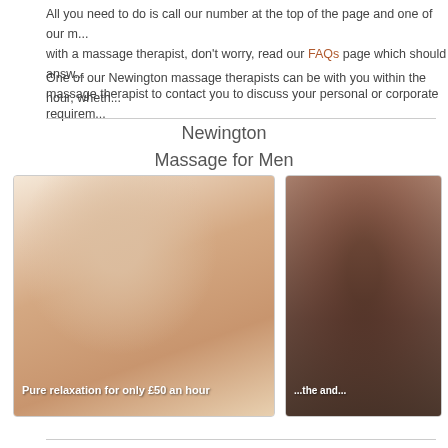All you need to do is call our number at the top of the page and one of our... with a massage therapist, don't worry, read our FAQs page which should answ... massage therapist to contact you to discuss your personal or corporate requirem...
One of our Newington massage therapists can be with you within the hour, wheth...
Newington
Massage for Men
[Figure (photo): Man receiving a back massage, lying face down, hands massaging his back, flowers and towels in background. Caption: Pure relaxation for only £50 an hour]
[Figure (photo): Partially visible photo of a person lying down, appearing to be receiving a massage. Caption partially visible: ...the and...]